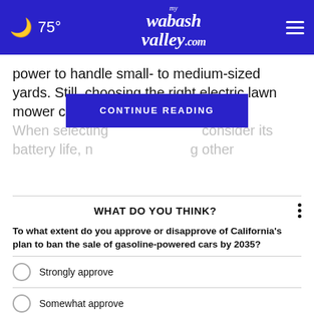🌙 75° myWabashValley.com ☰
power to handle small- to medium-sized yards. Still, choosing the right electric lawn mower can be tricky.
When selecting … consider its battery life, n… g other
CONTINUE READING
WHAT DO YOU THINK?
To what extent do you approve or disapprove of California's plan to ban the sale of gasoline-powered cars by 2035?
Strongly approve
Somewhat approve
Somewhat disapprove
Strongly disapprove